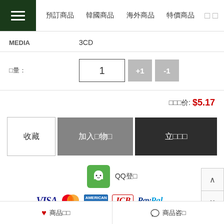≡  預訂商品  韓國商品  海外商品  特價商品  □□
MEDIA   3CD
□量:   1   +1   -1
□□□价: $5.17
收藏   加入□物□   立□□□
QQ登□
[Figure (logo): Payment method logos: VISA, MasterCard, American Express, JCB, PayPal]
♥ 商品□□   □ 商品咨□